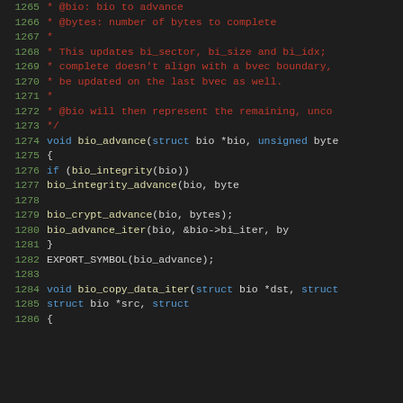[Figure (screenshot): Source code viewer showing C kernel code for bio_advance and bio_copy_data_iter functions, lines 1265-1286, with syntax highlighting on dark background.]